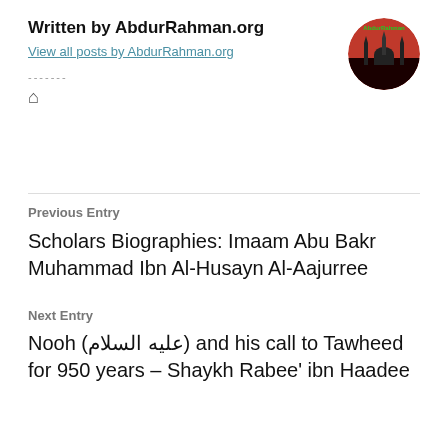Written by AbdurRahman.org
View all posts by AbdurRahman.org
[Figure (photo): Circular avatar image showing mosque/Kaaba with red sky background and AbdurRahman.org text overlay]
-------
🏠
Previous Entry
Scholars Biographies: Imaam Abu Bakr Muhammad Ibn Al-Husayn Al-Aajurree
Next Entry
Nooh (عليه السلام) and his call to Tawheed for 950 years – Shaykh Rabee' ibn Haadee